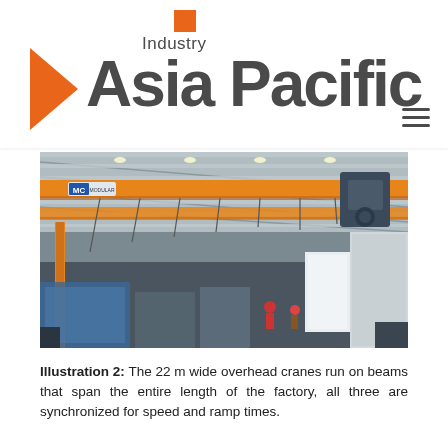[Figure (logo): Industry Asia Pacific magazine logo with orange square above text, orange chevron/arrow on left, and large bold 'Asia Pacific' text with smaller 'Industry' above it]
[Figure (photo): Interior of an industrial factory showing orange overhead cranes (branded MC) spanning the width of the building, with structural beams, lighting, and workers visible below]
Illustration 2: The 22 m wide overhead cranes run on beams that span the entire length of the factory, all three are synchronized for speed and ramp times.